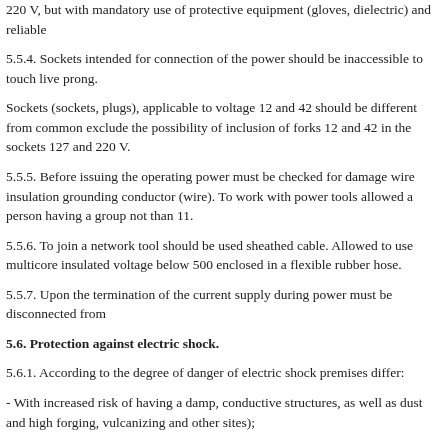220 V, but with mandatory use of protective equipment (gloves, dielectric) and reliable
5.5.4. Sockets intended for connection of the power should be inaccessible to touch live prong.
Sockets (sockets, plugs), applicable to voltage 12 and 42 should be different from common exclude the possibility of inclusion of forks 12 and 42 in the sockets 127 and 220 V.
5.5.5. Before issuing the operating power must be checked for damage wire insulation grounding conductor (wire). To work with power tools allowed a person having a group not than 11.
5.5.6. To join a network tool should be used sheathed cable. Allowed to use multicore insulated voltage below 500 enclosed in a flexible rubber hose.
5.5.7. Upon the termination of the current supply during power must be disconnected from
5.6. Protection against electric shock.
5.6.1. According to the degree of danger of electric shock premises differ:
- With increased risk of having a damp, conductive structures, as well as dust and high forging, vulcanizing and other sites);